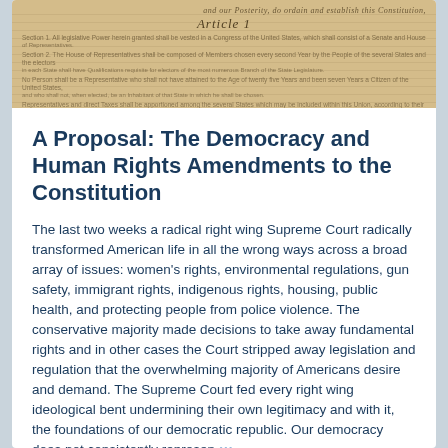[Figure (photo): Photograph of the United States Constitution parchment document showing Article 1 handwritten text in cursive script on aged yellowed paper]
A Proposal: The Democracy and Human Rights Amendments to the Constitution
The last two weeks a radical right wing Supreme Court radically transformed American life in all the wrong ways across a broad array of issues: women's rights, environmental regulations, gun safety, immigrant rights, indigenous rights, housing, public health, and protecting people from police violence. The conservative majority made decisions to take away fundamental rights and in other cases the Court stripped away legislation and regulation that the overwhelming majority of Americans desire and demand. The Supreme Court fed every right wing ideological bent undermining their own legitimacy and with it, the foundations of our democratic republic. Our democracy does not consistently represen •••
4 Jul 2022 · Stephen Rockwell